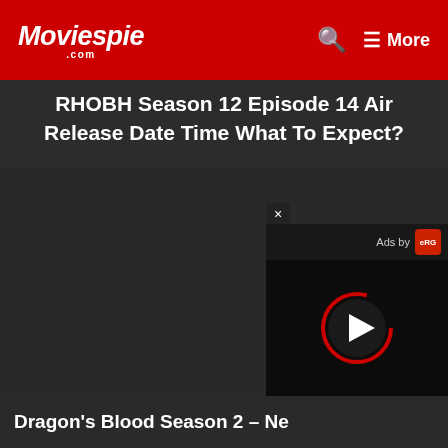Moviespie.com — More
RHOBH Season 12 Episode 14 Air Release Date Time What To Expect?
[Figure (screenshot): Dark content placeholder area with an ad overlay popup showing a video player with play button, 'Ads by eRG' label, and a close (×) button]
Dragon's Blood Season 2 – Ne...